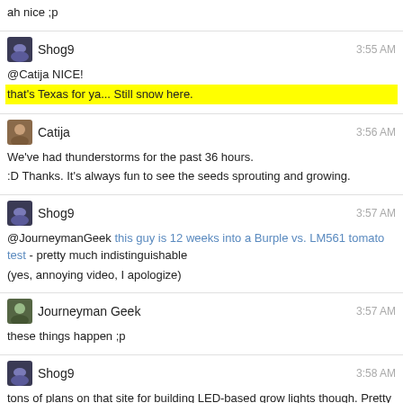ah nice ;p
Shog9 3:55 AM
@Catija NICE!
that's Texas for ya... Still snow here.
Catija 3:56 AM
We've had thunderstorms for the past 36 hours.
:D Thanks. It's always fun to see the seeds sprouting and growing.
Shog9 3:57 AM
@JourneymanGeek this guy is 12 weeks into a Burple vs. LM561 tomato test - pretty much indistinguishable
(yes, annoying video, I apologize)
Journeyman Geek 3:57 AM
these things happen ;p
Shog9 3:58 AM
tons of plans on that site for building LED-based grow lights though. Pretty solid resource.
0 - 3h | 3 - 4h | 4 - 8h | 8 - 16h | 17 - 21h | 21 - 0h
← prev day | next day → | last day »